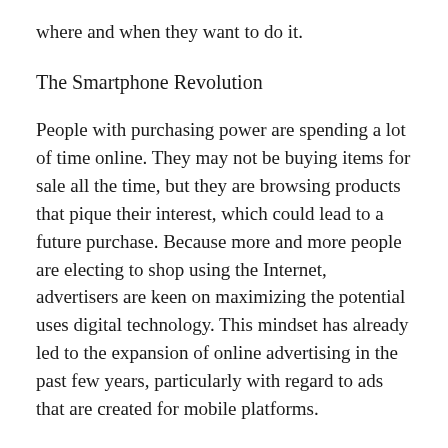where and when they want to do it.
The Smartphone Revolution
People with purchasing power are spending a lot of time online. They may not be buying items for sale all the time, but they are browsing products that pique their interest, which could lead to a future purchase. Because more and more people are electing to shop using the Internet, advertisers are keen on maximizing the potential uses digital technology. This mindset has already led to the expansion of online advertising in the past few years, particularly with regard to ads that are created for mobile platforms.